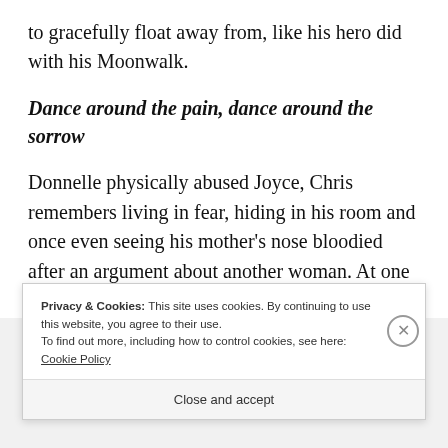to gracefully float away from, like his hero did with his Moonwalk.
Dance around the pain, dance around the sorrow
Donnelle physically abused Joyce, Chris remembers living in fear, hiding in his room and once even seeing his mother’s nose bloodied after an argument about another woman. At one
Privacy & Cookies: This site uses cookies. By continuing to use this website, you agree to their use.
To find out more, including how to control cookies, see here: Cookie Policy
Close and accept